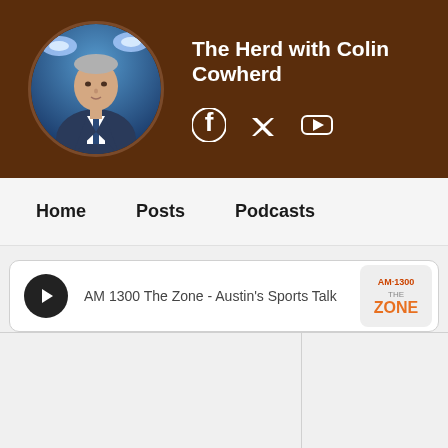The Herd with Colin Cowherd
[Figure (photo): Circular profile photo of Colin Cowherd in a suit against a stadium backdrop with lights]
[Figure (logo): Facebook, Twitter/X, and YouTube social media icons in white]
Home   Posts   Podcasts
AM 1300 The Zone - Austin's Sports Talk
[Figure (logo): AM 1300 The Zone station logo]